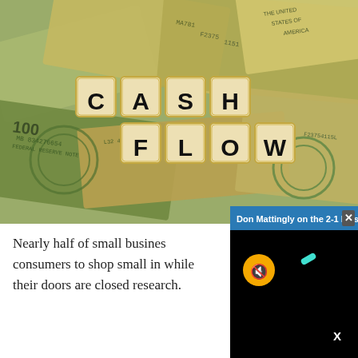[Figure (photo): Photo of scattered US dollar bills with Scrabble letter tiles spelling CASH FLOW in two rows on top of the money]
Nearly half of small busines consumers to shop small in while their doors are closed research.
[Figure (screenshot): Video popup overlay with blue header bar reading 'Don Mattingly on the 2-1 loss' with an X close button, and a dark/black video area with a yellow mute button and an X close icon]